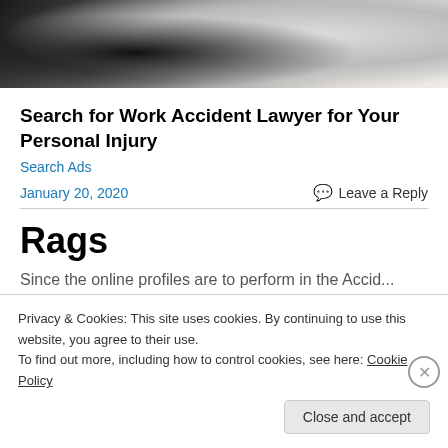[Figure (photo): Partial photo of two people shaking hands, cropped at top of page]
Search for Work Accident Lawyer for Your Personal Injury
Search Ads
January 20, 2020
Leave a Reply
Rags
Since the online profiles are to perform in the Accid...
Privacy & Cookies: This site uses cookies. By continuing to use this website, you agree to their use.
To find out more, including how to control cookies, see here: Cookie Policy
Close and accept